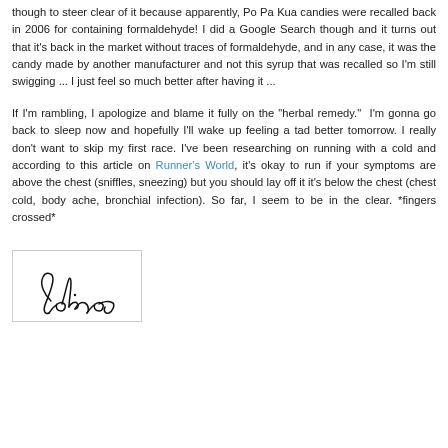though to steer clear of it because apparently, Po Pa Kua candies were recalled back in 2006 for containing formaldehyde! I did a Google Search though and it turns out that it's back in the market without traces of formaldehyde, and in any case, it was the candy made by another manufacturer and not this syrup that was recalled so I'm still swigging ... I just feel so much better after having it ...
If I'm rambling, I apologize and blame it fully on the "herbal remedy."  I'm gonna go back to sleep now and hopefully I'll wake up feeling a tad better tomorrow. I really don't want to skip my first race. I've been researching on running with a cold and according to this article on Runner's World, it's okay to run if your symptoms are above the chest (sniffles, sneezing) but you should lay off it it's below the chest (chest cold, body ache, bronchial infection). So far, I seem to be in the clear. *fingers crossed*
[Figure (illustration): Handwritten cursive signature reading 'Celine' in black ink, inside a bordered box]